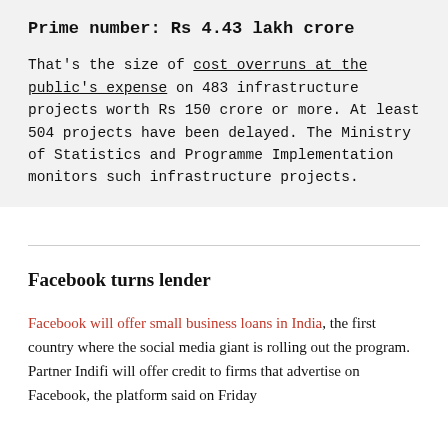Prime number: Rs 4.43 lakh crore
That's the size of cost overruns at the public's expense on 483 infrastructure projects worth Rs 150 crore or more. At least 504 projects have been delayed. The Ministry of Statistics and Programme Implementation monitors such infrastructure projects.
Facebook turns lender
Facebook will offer small business loans in India, the first country where the social media giant is rolling out the program. Partner Indifi will offer credit to firms that advertise on Facebook, the platform said on Friday